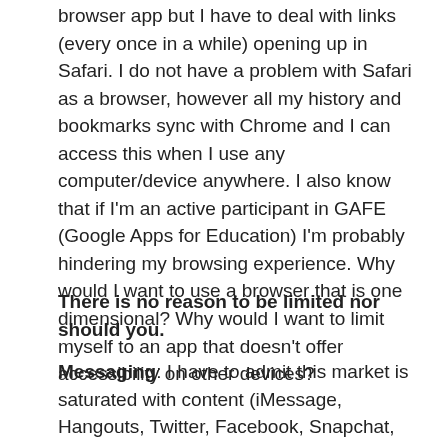browser app but I have to deal with links (every once in a while) opening up in Safari. I do not have a problem with Safari as a browser, however all my history and bookmarks sync with Chrome and I can access this when I use any computer/device anywhere. I also know that if I'm an active participant in GAFE (Google Apps for Education) I'm probably hindering my browsing experience. Why would I want to use a browser that is one dimensional? Why would I want to limit myself to an app that doesn't offer accessibility on other devices?
There is no reason to be limited nor should you.
Messaging: I have to admit this market is saturated with content (iMessage, Hangouts, Twitter, Facebook, Snapchat, Periscope, Voxer, WhatsApp…..) however we